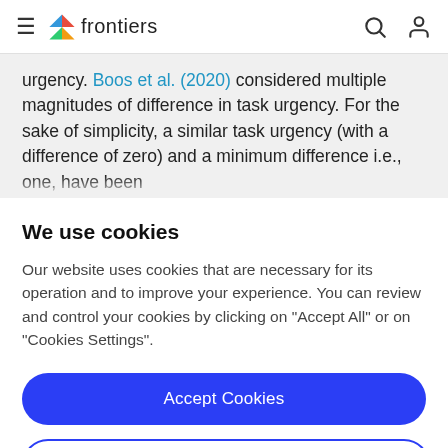frontiers
urgency. Boos et al. (2020) considered multiple magnitudes of difference in task urgency. For the sake of simplicity, a similar task urgency (with a difference of zero) and a minimum difference i.e., one, have been
We use cookies
Our website uses cookies that are necessary for its operation and to improve your experience. You can review and control your cookies by clicking on "Accept All" or on "Cookies Settings".
Accept Cookies
Cookies Settings